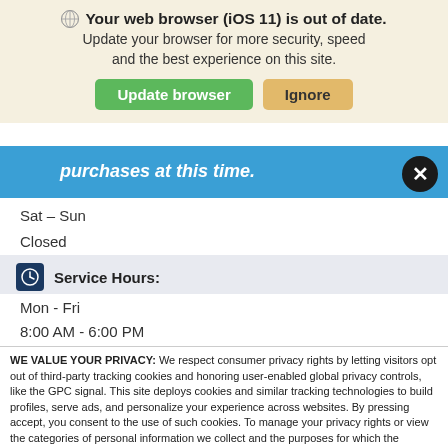[Figure (screenshot): Browser update notification banner with globe icon, bold title 'Your web browser (iOS 11) is out of date.', subtitle text, and two buttons: 'Update browser' (green) and 'Ignore' (orange/tan)]
purchases at this time.
Sat – Sun
Closed
Service Hours:
Mon - Fri
8:00 AM - 6:00 PM
WE VALUE YOUR PRIVACY: We respect consumer privacy rights by letting visitors opt out of third-party tracking cookies and honoring user-enabled global privacy controls, like the GPC signal. This site deploys cookies and similar tracking technologies to build profiles, serve ads, and personalize your experience across websites. By pressing accept, you consent to the use of such cookies. To manage your privacy rights or view the categories of personal information we collect and the purposes for which the information is used, click here.
Language:  English   ∨   Powered by ComplyAuto
Accept and Continue →   Privacy Policy   ×